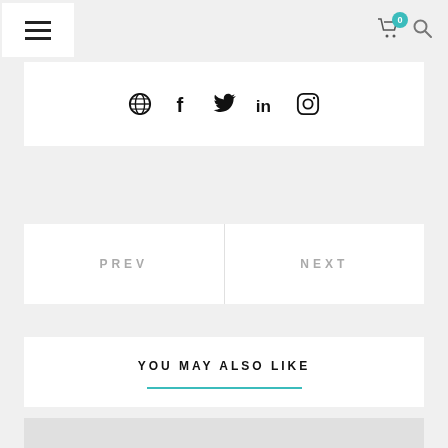Navigation header with hamburger menu, cart icon (badge: 0), and search icon
[Figure (infographic): Social media icons: globe, Facebook (f), Twitter, LinkedIn (in), Instagram]
PREV
NEXT
YOU MAY ALSO LIKE